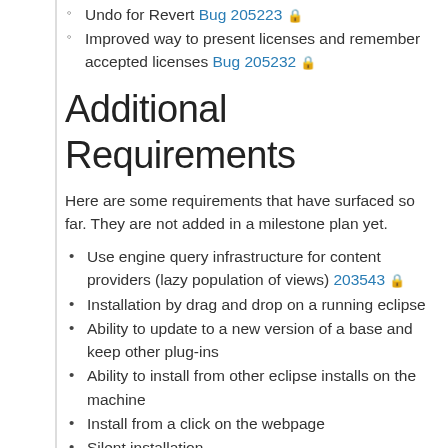Undo for Revert Bug 205223 🔒
Improved way to present licenses and remember accepted licenses Bug 205232 🔒
Additional Requirements
Here are some requirements that have surfaced so far. They are not added in a milestone plan yet.
Use engine query infrastructure for content providers (lazy population of views) 203543 🔒
Installation by drag and drop on a running eclipse
Ability to update to a new version of a base and keep other plug-ins
Ability to install from other eclipse installs on the machine
Install from a click on the webpage
Silent installation
Support installation even when there are errors in the configuration
Admin/tooling
Repo management
Create and populate repos